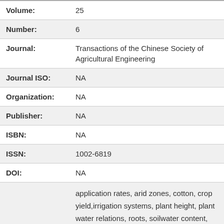| Field | Value |
| --- | --- |
| Volume: | 25 |
| Number: | 6 |
| Journal: | Transactions of the Chinese Society of Agricultural Engineering |
| Journal ISO: | NA |
| Organization: | NA |
| Publisher: | NA |
| ISBN: | NA |
| ISSN: | 1002-6819 |
| DOI: | NA |
|  | application rates, arid zones, cotton, crop yield,irrigation systems, plant height, plant water relations, roots, soilwater content, water use efficiency, China, Xinjiang, Gossypium,Gossypium hirsutum, East Asia, Asia, Developing Countries, |